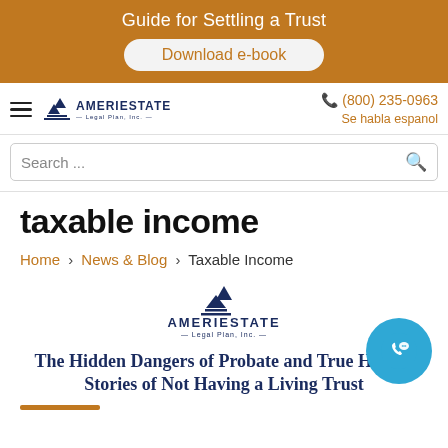Guide for Settling a Trust
Download e-book
[Figure (logo): AmeriEstate Legal Plan Inc. logo with hamburger menu icon in navigation bar]
(800) 235-0963
Se habla espanol
Search ...
taxable income
Home > News & Blog > Taxable Income
[Figure (logo): AmeriEstate Legal Plan Inc. centered logo]
The Hidden Dangers of Probate and True Horror Stories of Not Having a Living Trust